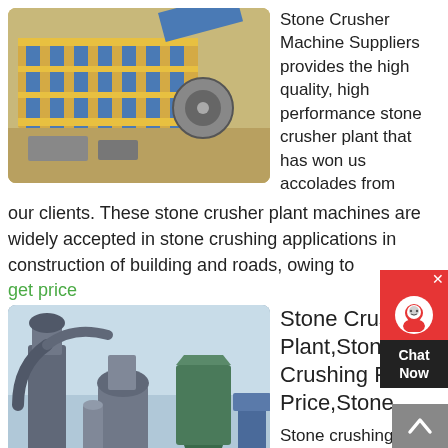[Figure (photo): Stone crusher plant machinery outdoors, yellow and blue equipment on a structure]
Stone Crusher Machine Suppliers provides the high quality, high performance stone crusher plant that has won us accolades from our clients. These stone crusher plant machines are widely accepted in stone crushing applications in construction of building and roads, owing to
get price
[Figure (photo): Stone crushing plant with industrial grinders, pipes, and hoppers outdoors in winter]
Stone Crushing Plant,Stone Crushing Plant Price,Stone
Stone crushing plant mainly includes vibrating feeder, jaw crusher, cone crusher, impact crusher, vertical shaft impact crusher, vibrating screen, belt conveyor, electric control panel, etc. It could crush